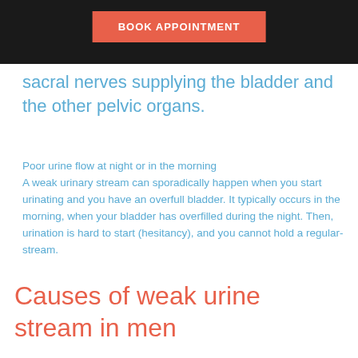BOOK APPOINTMENT
sacral nerves supplying the bladder and the other pelvic organs.
Poor urine flow at night or in the morning
A weak urinary stream can sporadically happen when you start urinating and you have an overfull bladder. It typically occurs in the morning, when your bladder has overfilled during the night. Then, urination is hard to start (hesitancy), and you cannot hold a regular-stream.
Causes of weak urine stream in men
A benign, enlarged prostate is one common cause of slow